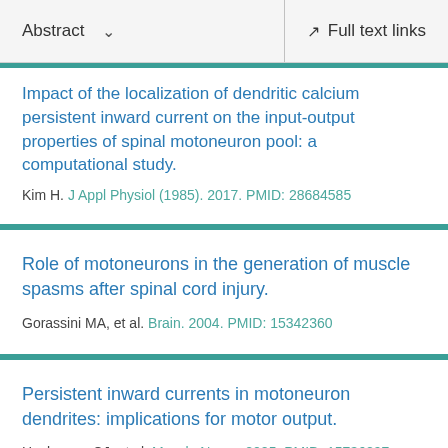Abstract  ∨   Full text links
Impact of the localization of dendritic calcium persistent inward current on the input-output properties of spinal motoneuron pool: a computational study.
Kim H. J Appl Physiol (1985). 2017. PMID: 28684585
Role of motoneurons in the generation of muscle spasms after spinal cord injury.
Gorassini MA, et al. Brain. 2004. PMID: 15342360
Persistent inward currents in motoneuron dendrites: implications for motor output.
Heckmann CJ, et al. Muscle Nerve. 2005. PMID: 15736297 Review.